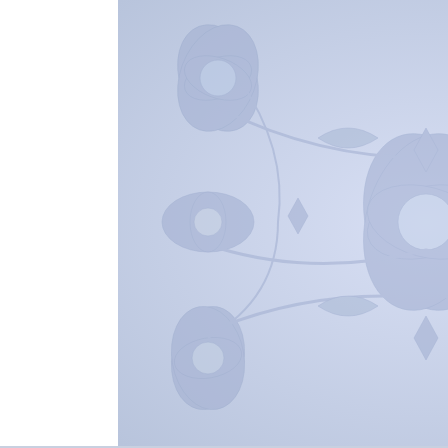resses
ntoinette Tricorn
Hollow-Peach
Hollow-Striped
Hollow-Cloak
ranach gown
he Rings –
el
he Rings –
Avalon-Morgaine
d
Maeve
Rococo gown
Riding Jacket
a Française
wedding dress
Tapestries
Tapestries –
es
rs Costumes
[Figure (illustration): Decorative blue and white floral/damask pattern background in the center column]
Updated: A... Queen Amic... Theed Thro...
Updated: E...
Event: Fed0...
...I'm currently w... after over 10 yea... static html (aka l... I'm now porting t... (aka WordPress... That means I ha... paste over 300 p... around with the... So in case some... use the search b... can't be found, b... back in a few da...
Contact? Pleas... each page in th...
Google Ads